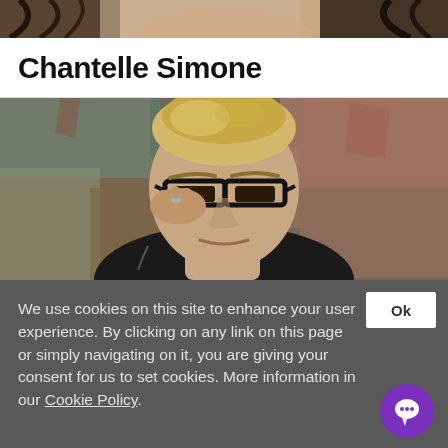[Figure (photo): Partial photo strip at top showing people, cropped/cut off at edges — header image of a profile page]
Chantelle Simone
[Figure (photo): Close-up portrait of a person with short blonde hair, wearing black-rimmed glasses, pulling glasses down slightly with one hand, looking at the camera. Colorful textured background.]
We use cookies on this site to enhance your user experience. By clicking on any link on this page or simply navigating on it, you are giving your consent for us to set cookies. More information in our Cookie Policy.